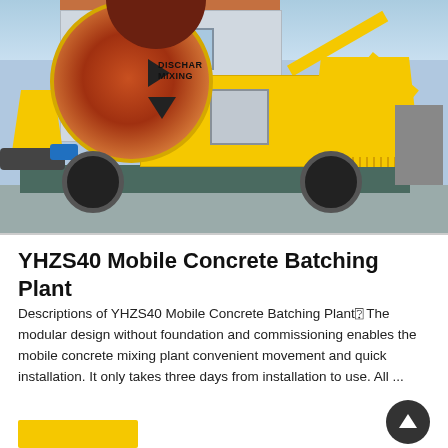[Figure (photo): Yellow YHZS40 Mobile Concrete Batching Plant / concrete mixer machine on a trailer with large rotating drum labeled 'DISCHARGE MIXING', hopper arms, wheels, radiator, and blue hydraulic components, parked outside a building.]
YHZS40 Mobile Concrete Batching Plant
Descriptions of YHZS40 Mobile Concrete Batching Plant® The modular design without foundation and commissioning enables the mobile concrete mixing plant convenient movement and quick installation. It only takes three days from installation to use. All ...